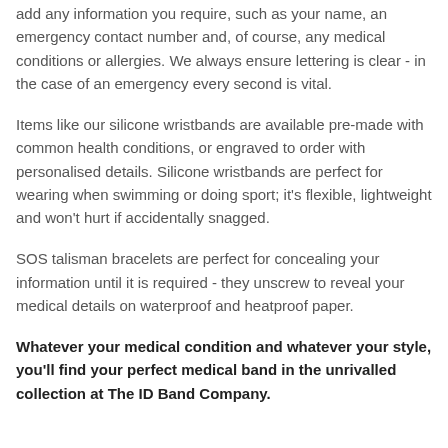add any information you require, such as your name, an emergency contact number and, of course, any medical conditions or allergies. We always ensure lettering is clear - in the case of an emergency every second is vital.
Items like our silicone wristbands are available pre-made with common health conditions, or engraved to order with personalised details. Silicone wristbands are perfect for wearing when swimming or doing sport; it's flexible, lightweight and won't hurt if accidentally snagged.
SOS talisman bracelets are perfect for concealing your information until it is required - they unscrew to reveal your medical details on waterproof and heatproof paper.
Whatever your medical condition and whatever your style, you'll find your perfect medical band in the unrivalled collection at The ID Band Company.